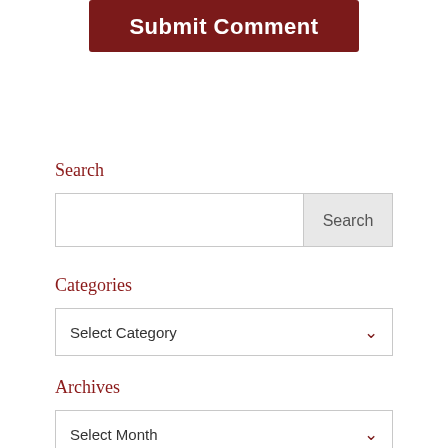[Figure (screenshot): Submit Comment button — dark red/maroon rounded rectangle with white bold text]
Search
[Figure (screenshot): Search input box with Search button on the right]
Categories
[Figure (screenshot): Select Category dropdown box with chevron]
Archives
[Figure (screenshot): Select Month dropdown box with chevron]